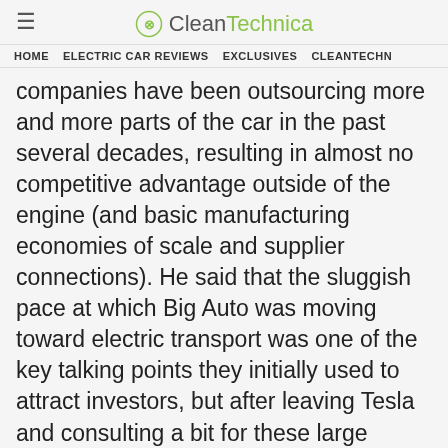CleanTechnica
HOME   ELECTRIC CAR REVIEWS   EXCLUSIVES   CLEANTECHN
companies have been outsourcing more and more parts of the car in the past several decades, resulting in almost no competitive advantage outside of the engine (and basic manufacturing economies of scale and supplier connections). He said that the sluggish pace at which Big Auto was moving toward electric transport was one of the key talking points they initially used to attract investors, but after leaving Tesla and consulting a bit for these large automakers, he found out... it was much worse than they had been saying!